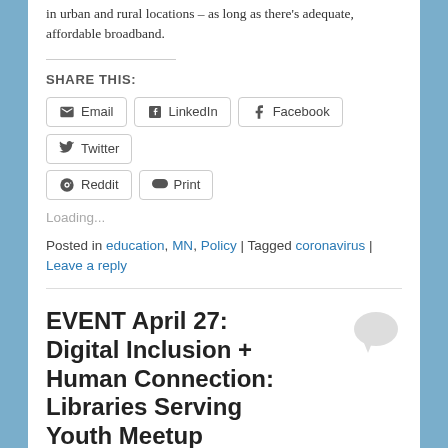in urban and rural locations – as long as there's adequate, affordable broadband.
SHARE THIS:
Email | LinkedIn | Facebook | Twitter | Reddit | Print
Loading...
Posted in education, MN, Policy | Tagged coronavirus | Leave a reply
EVENT April 27: Digital Inclusion + Human Connection: Libraries Serving Youth Meetup